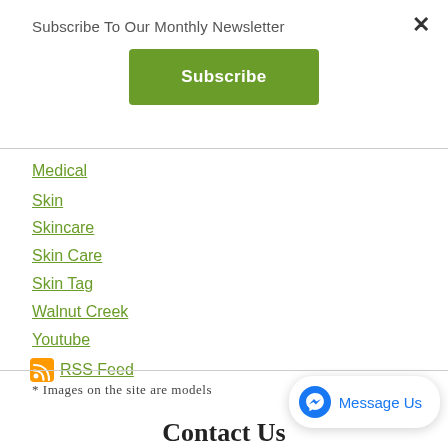Subscribe To Our Monthly Newsletter
Subscribe
Medical
Skin
Skincare
Skin Care
Skin Tag
Walnut Creek
Youtube
RSS Feed
* Images on the site are models
Contact Us